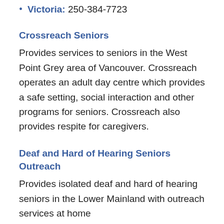Victoria: 250-384-7723
Crossreach Seniors
Provides services to seniors in the West Point Grey area of Vancouver. Crossreach operates an adult day centre which provides a safe setting, social interaction and other programs for seniors. Crossreach also provides respite for caregivers.
Deaf and Hard of Hearing Seniors Outreach
Provides isolated deaf and hard of hearing seniors in the Lower Mainland with outreach services at home